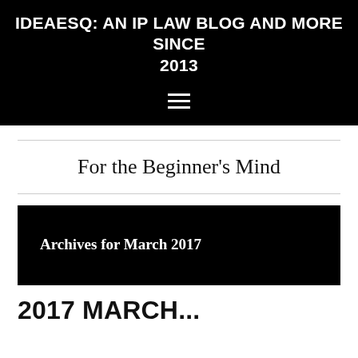IDEAESQ: AN IP LAW BLOG AND MORE SINCE 2013
[Figure (other): Hamburger menu icon with three horizontal white lines on black background]
For the Beginner's Mind
Archives for March 2017
2017 March ...